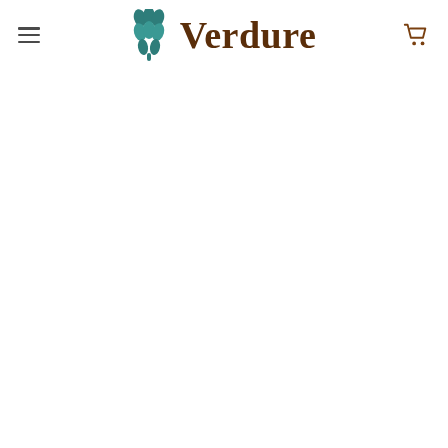[Figure (logo): Verdure brand logo with teal leaf/foliage icon and brown serif wordmark 'Verdure', flanked by a hamburger menu icon on the left and a shopping cart icon on the right, on a white navigation bar background.]